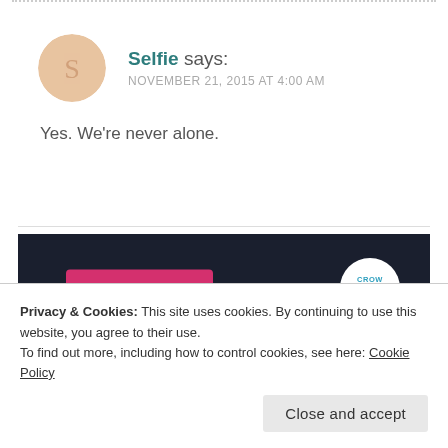Selfie says: NOVEMBER 21, 2015 AT 4:00 AM
Yes. We're never alone.
[Figure (screenshot): Dark navy banner with a pink 'Start a survey' button on the left and a circular white logo with 'CROWDSIGNAL' text on the right.]
Privacy & Cookies: This site uses cookies. By continuing to use this website, you agree to their use.
To find out more, including how to control cookies, see here: Cookie Policy
Close and accept